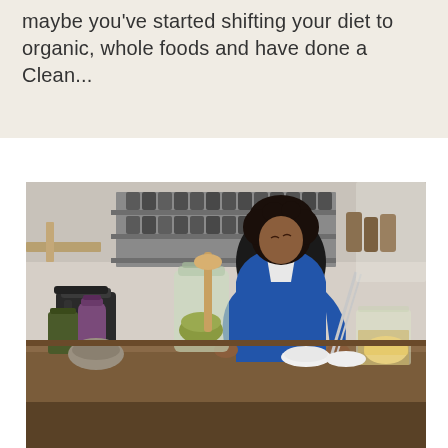maybe you've started shifting your diet to organic, whole foods and have done a Clean...
[Figure (photo): A woman with curly hair wearing a blue outfit stands at a kitchen counter surrounded by glass jars, bowls, and ingredients, appearing to prepare a natural/organic recipe. Shelves with jars and bottles are visible in the background.]